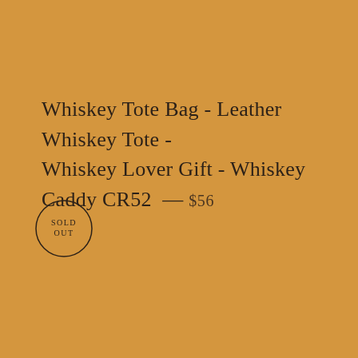Whiskey Tote Bag - Leather Whiskey Tote - Whiskey Lover Gift - Whiskey Caddy CR52 — $56
[Figure (other): A circular stamp/badge with the text 'SOLD OUT' in the center, thin circle border]